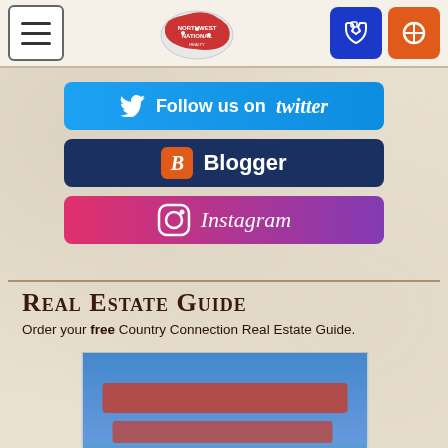Northwest National Realty — navigation bar with hamburger menu, logo, phone and search buttons
[Figure (screenshot): Twitter follow button banner in blue]
[Figure (screenshot): Blogger follow button banner in dark blue with orange B icon]
[Figure (screenshot): Instagram follow button banner with gradient red to purple]
Real Estate Guide
Order your free Country Connection Real Estate Guide.
[Figure (photo): Blurred book cover image for Country Connection Real Estate Guide]